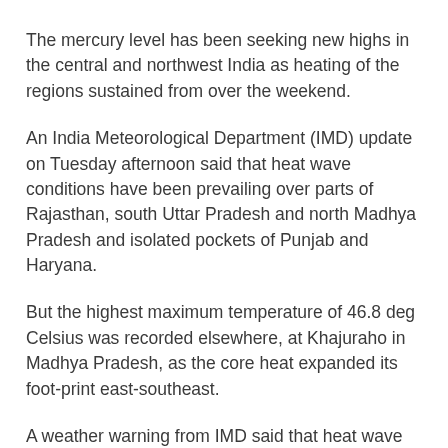The mercury level has been seeking new highs in the central and northwest India as heating of the regions sustained from over the weekend.
An India Meteorological Department (IMD) update on Tuesday afternoon said that heat wave conditions have been prevailing over parts of Rajasthan, south Uttar Pradesh and north Madhya Pradesh and isolated pockets of Punjab and Haryana.
But the highest maximum temperature of 46.8 deg Celsius was recorded elsewhere, at Khajuraho in Madhya Pradesh, as the core heat expanded its foot-print east-southeast.
A weather warning from IMD said that heat wave conditions would continue to hold over parts of Rajasthan, Haryana, Punjab, Delhi, Uttar Pradesh and Madhya Pradesh during this period.
Meanwhile, it maintained the watch for a fresh western disturbance crossing over the border affecting the western